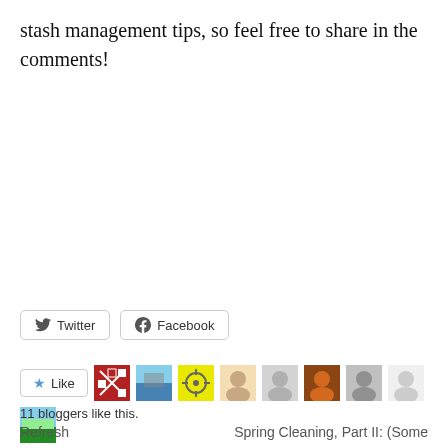stash management tips, so feel free to share in the comments!
[Figure (screenshot): Twitter and Facebook share buttons]
[Figure (screenshot): Like button with star icon and 9 blogger avatar thumbnails]
11 bloggers like this.
Refresh    Spring Cleaning, Part II: (Some